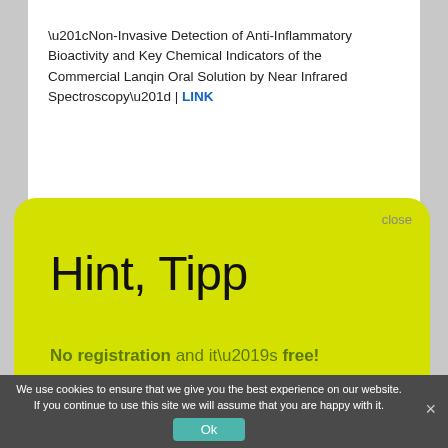“Non-Invasive Detection of Anti-Inflammatory Bioactivity and Key Chemical Indicators of the Commercial Lanqin Oral Solution by Near Infrared Spectroscopy” | LINK
[Figure (screenshot): Yellow popup/modal box with rounded corners containing a 'Hint, Tipp' message promoting a free NIR-Predictor Software with no registration required. Has a 'close' button and 'Show me' call-to-action link.]
with Robustness to Spectral Uncertainty • LINK
“Rapid identification of the geographic origin of Taiping Houkui green tea using near-infrared spectroscopy combined with a variable s… on method” LINK
We use cookies to ensure that we give you the best experience on our website. If you continue to use this site we will assume that you are happy with it.